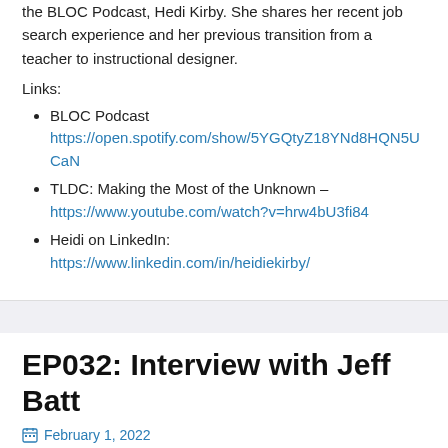the BLOC Podcast, Hedi Kirby. She shares her recent job search experience and her previous transition from a teacher to instructional designer.
Links:
BLOC Podcast https://open.spotify.com/show/5YGQtyZ18YNd8HQN5UCaN
TLDC: Making the Most of the Unknown – https://www.youtube.com/watch?v=hrw4bU3fi84
Heidi on LinkedIn: https://www.linkedin.com/in/heidiekirby/
EP032: Interview with Jeff Batt
February 1, 2022